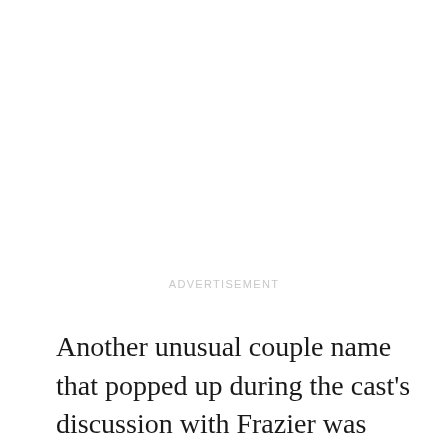ADVERTISEMENT
Another unusual couple name that popped up during the cast's discussion with Frazier was “Elmer,” courtesy of Dietzen. This nickname probably wouldn't work because it's a combination of a fictional character and one of